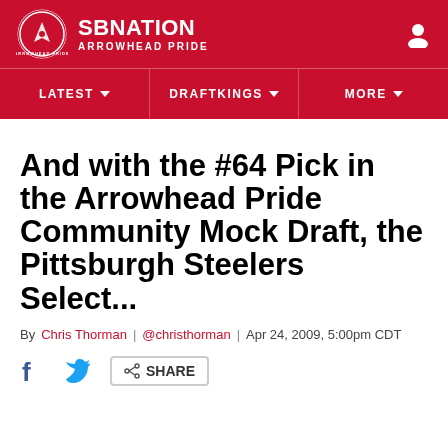[Figure (logo): SB Nation Arrowhead Pride logo with circular emblem and site name]
LATEST | DRAFTKINGS | MORE
And with the #64 Pick in the Arrowhead Pride Community Mock Draft, the Pittsburgh Steelers Select...
By Chris Thorman | @christhorman | Apr 24, 2009, 5:00pm CDT